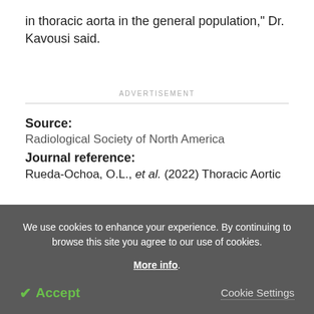in thoracic aorta in the general population," Dr. Kavousi said.
ADVERTISEMENT
Source:
Radiological Society of North America
Journal reference:
Rueda-Ochoa, O.L., et al. (2022) Thoracic Aortic
We use cookies to enhance your experience. By continuing to browse this site you agree to our use of cookies. More info. Accept Cookie Settings